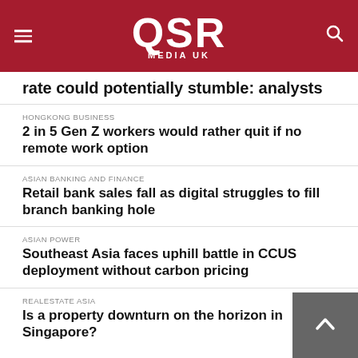QSR MEDIA UK
rate could potentially stumble: analysts
HONGKONG BUSINESS
2 in 5 Gen Z workers would rather quit if no remote work option
ASIAN BANKING AND FINANCE
Retail bank sales fall as digital struggles to fill branch banking hole
ASIAN POWER
Southeast Asia faces uphill battle in CCUS deployment without carbon pricing
REALESTATE ASIA
Is a property downturn on the horizon in Singapore?